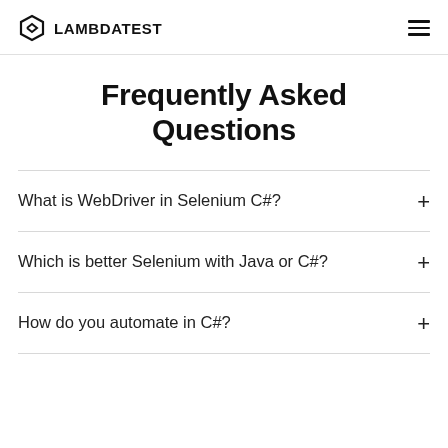LAMBDATEST
Frequently Asked Questions
What is WebDriver in Selenium C#?
Which is better Selenium with Java or C#?
How do you automate in C#?